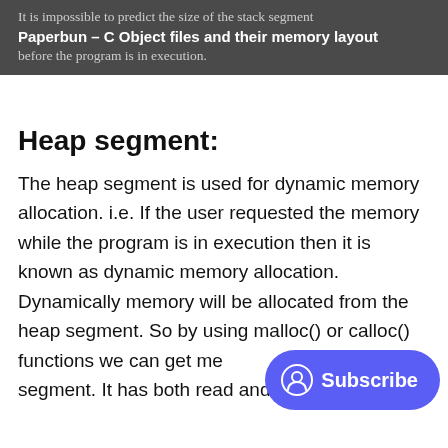It is impossible to predict the size of the stack segment
Paperbun – C Object files and their memory layout
before the program is in execution.
Heap segment:
The heap segment is used for dynamic memory allocation. i.e. If the user requested the memory while the program is in execution then it is known as dynamic memory allocation. Dynamically memory will be allocated from the heap segment. So by using malloc() or calloc() functions we can get memory from the heap segment. It has both read and write